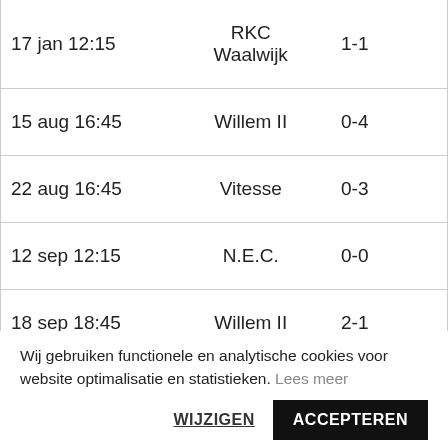| Date | Team | Score |
| --- | --- | --- |
| 17 jan 12:15 | RKC Waalwijk | 1-1 |
| 15 aug 16:45 | Willem II | 0-4 |
| 22 aug 16:45 | Vitesse | 0-3 |
| 12 sep 12:15 | N.E.C. | 0-0 |
| 18 sep 18:45 | Willem II | 2-1 |
Wij gebruiken functionele en analytische cookies voor website optimalisatie en statistieken. Lees meer
WIJZIGEN  ACCEPTEREN